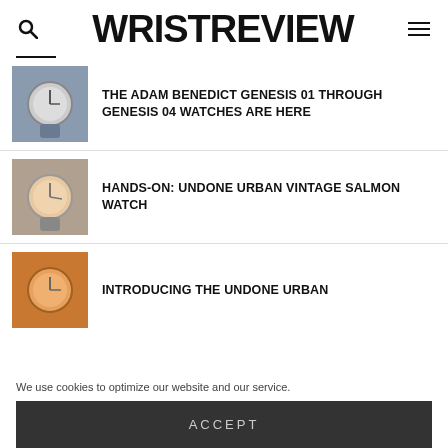WRISTREVIEW
THE ADAM BENEDICT GENESIS 01 THROUGH GENESIS 04 WATCHES ARE HERE
HANDS-ON: UNDONE URBAN VINTAGE SALMON WATCH
INTRODUCING THE UNDONE URBAN
We use cookies to optimize our website and our service.
ACCEPT